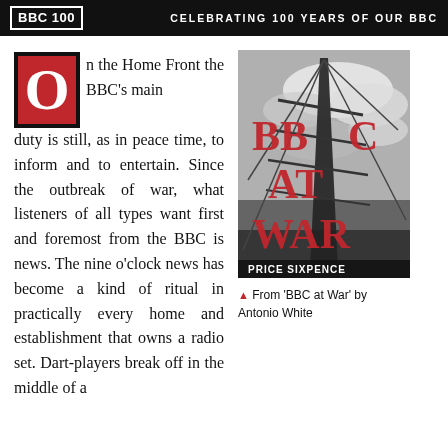BBC 100 | CELEBRATING 100 YEARS OF OUR BBC
On the Home Front the BBC's main duty is still, as in peace time, to inform and to entertain. Since the outbreak of war, what listeners of all types want first and foremost from the BBC is news. The nine o'clock news has become a kind of ritual in practically every home and establishment that owns a radio set. Dart-players break off in the middle of a
[Figure (photo): Book cover of 'BBC at War' showing a black and white photograph of a radio transmission tower against a cloudy sky, with large red text 'BBC AT WAR' overlaid. At the bottom it reads 'PRICE SIXPENCE'.]
▲ From 'BBC at War' by Antonio White